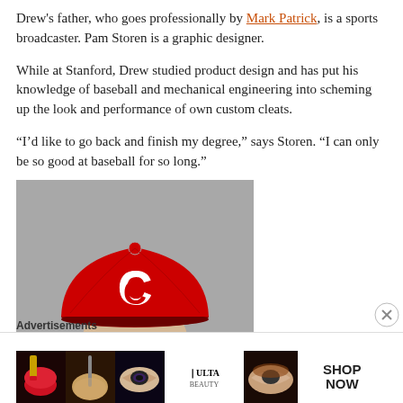Drew's father, who goes professionally by Mark Patrick, is a sports broadcaster. Pam Storen is a graphic designer.
While at Stanford, Drew studied product design and has put his knowledge of baseball and mechanical engineering into scheming up the look and performance of own custom cleats.
“I’d like to go back and finish my degree,” says Storen. “I can only be so good at baseball for so long.”
[Figure (photo): Photo of a baseball player wearing a red Cincinnati Reds cap, cropped to show cap and eyes only, against a gray background.]
Advertisements
[Figure (photo): ULTA beauty advertisement banner showing close-up beauty/makeup images and a SHOP NOW button.]